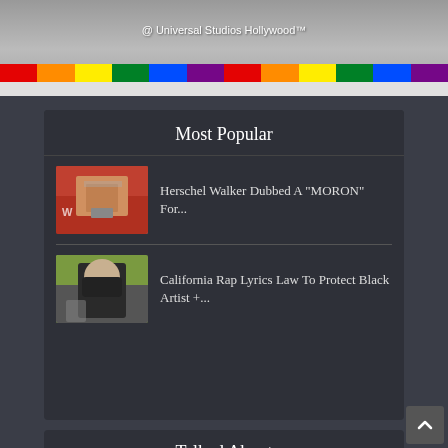[Figure (photo): Top banner image at Universal Studios Hollywood with rainbow crosswalk stripes at bottom]
@ Universal Studios Hollywood™
Most Popular
[Figure (photo): Man speaking at podium with red background]
Herschel Walker Dubbed A "MORON" For...
[Figure (photo): Man in suit wearing black face mask holding paper]
California Rap Lyrics Law To Protect Black Artist +...
Talked About